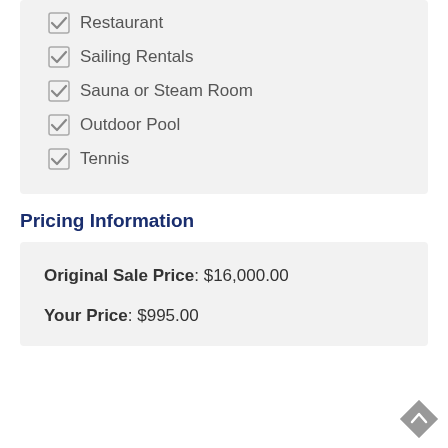✓ Restaurant
✓ Sailing Rentals
✓ Sauna or Steam Room
✓ Outdoor Pool
✓ Tennis
Pricing Information
Original Sale Price: $16,000.00
Your Price: $995.00